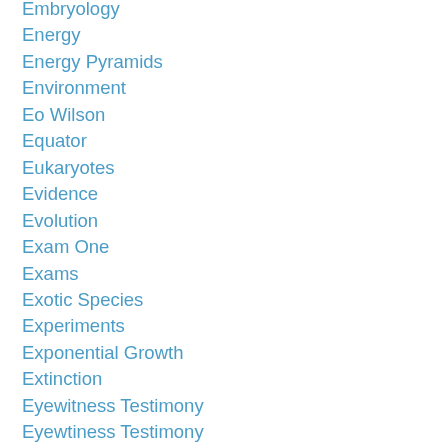Embryology
Energy
Energy Pyramids
Environment
Eo Wilson
Equator
Eukaryotes
Evidence
Evolution
Exam One
Exams
Exotic Species
Experiments
Exponential Growth
Extinction
Eyewitness Testimony
Eyewtiness Testimony
Facebook
Female
Fight Club
Finches